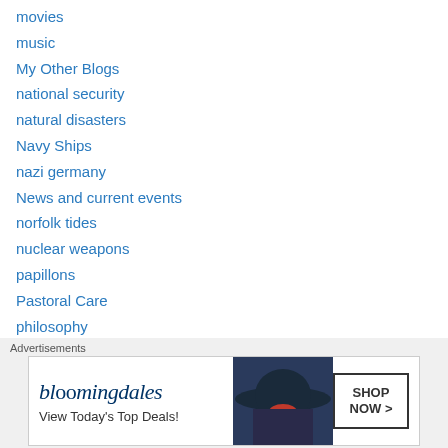movies
music
My Other Blogs
national security
natural disasters
Navy Ships
nazi germany
News and current events
norfolk tides
nuclear weapons
papillons
Pastoral Care
philosophy
Photo Montages
Political Commentary
political commentary
[Figure (screenshot): Bloomingdales advertisement banner: 'View Today's Top Deals!' with SHOP NOW button and woman in wide-brim hat]